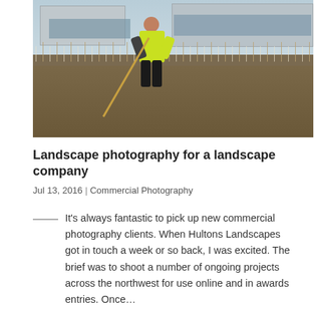[Figure (photo): A worker in a hi-vis yellow vest and dark trousers uses a long-handled tool (rake/dibber) on a large area of bare soil. Tree stakes and protective tubes are visible in a row behind him. A large commercial/industrial building is visible in the background under a cloudy sky.]
Landscape photography for a landscape company
Jul 13, 2016 | Commercial Photography
It's always fantastic to pick up new commercial photography clients. When Hultons Landscapes got in touch a week or so back, I was excited. The brief was to shoot a number of ongoing projects across the northwest for use online and in awards entries. Once...